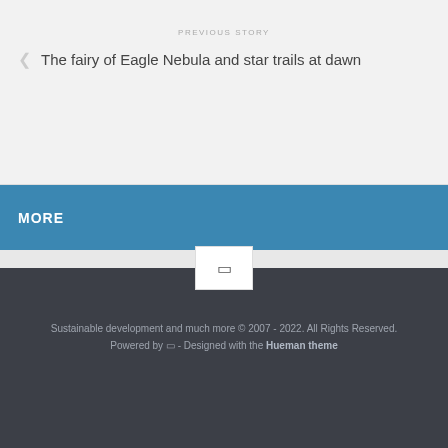PREVIOUS STORY
The fairy of Eagle Nebula and star trails at dawn
MORE
Sustainable development and much more © 2007 - 2022. All Rights Reserved.
Powered by  - Designed with the Hueman theme